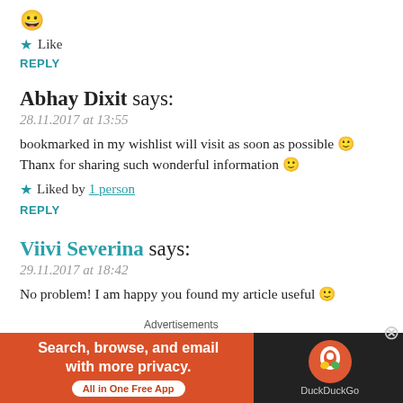😀
★ Like
REPLY
Abhay Dixit says:
28.11.2017 at 13:55
bookmarked in my wishlist will visit as soon as possible 🙂
Thanx for sharing such wonderful information 🙂
★ Liked by 1 person
REPLY
Viivi Severina says:
29.11.2017 at 18:42
No problem! I am happy you found my article useful 🙂
[Figure (screenshot): DuckDuckGo advertisement banner: orange left side with text 'Search, browse, and email with more privacy. All in One Free App' button, dark right side with DuckDuckGo logo and name.]